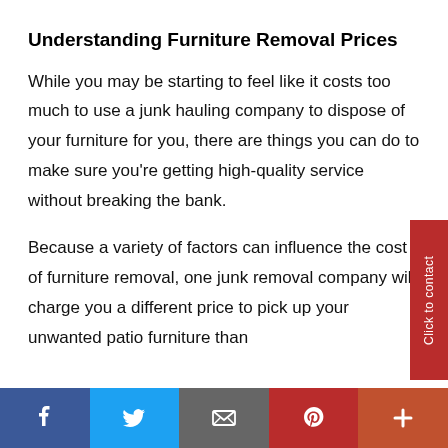Understanding Furniture Removal Prices
While you may be starting to feel like it costs too much to use a junk hauling company to dispose of your furniture for you, there are things you can do to make sure you're getting high-quality service without breaking the bank.
Because a variety of factors can influence the cost of furniture removal, one junk removal company will charge you a different price to pick up your unwanted patio furniture than
[Figure (other): Red vertical sidebar button with text 'Click to contact' rotated 90 degrees]
Social share bar with Facebook, Twitter, Email, Pinterest, and More buttons